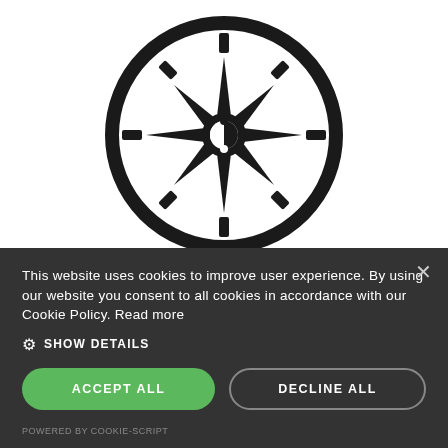[Figure (illustration): A black compass icon with tick marks around the dial, cardinal direction arrows forming a star/rose shape in the center, and a circular needle indicator in the middle, on a white background.]
This website uses cookies to improve user experience. By using our website you consent to all cookies in accordance with our Cookie Policy. Read more
SHOW DETAILS
ACCEPT ALL
DECLINE ALL
POWERED BY COOKIE-SCRIPT